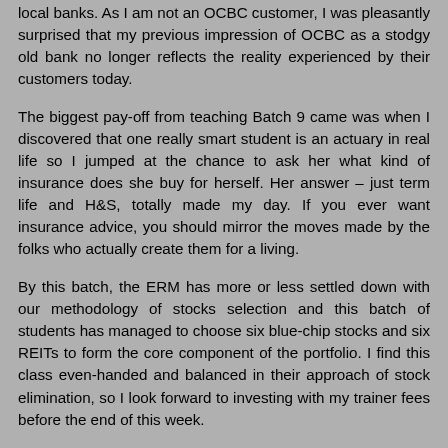local banks. As I am not an OCBC customer, I was pleasantly surprised that my previous impression of OCBC as a stodgy old bank no longer reflects the reality experienced by their customers today.
The biggest pay-off from teaching Batch 9 came was when I discovered that one really smart student is an actuary in real life so I jumped at the chance to ask her what kind of insurance does she buy for herself. Her answer – just term life and H&S, totally made my day. If you ever want insurance advice, you should mirror the moves made by the folks who actually create them for a living.
By this batch, the ERM has more or less settled down with our methodology of stocks selection and this batch of students has managed to choose six blue-chip stocks and six REITs to form the core component of the portfolio. I find this class even-handed and balanced in their approach of stock elimination, so I look forward to investing with my trainer fees before the end of this week.
As a response to feedback during this course, I will be taking